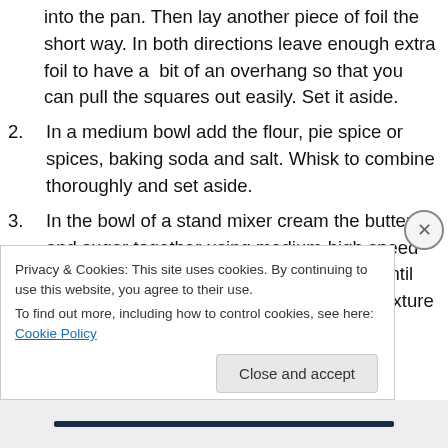into the pan. Then lay another piece of foil the short way. In both directions leave enough extra foil to have a bit of an overhang so that you can pull the squares out easily. Set it aside.
2. In a medium bowl add the flour, pie spice or spices, baking soda and salt. Whisk to combine thoroughly and set aside.
3. In the bowl of a stand mixer cream the butter and sugar together using medium-high speed until smooth. Beat in the egg and vanilla until combined then add the pumpkin puree (mixture may appear curdled but that's
Privacy & Cookies: This site uses cookies. By continuing to use this website, you agree to their use. To find out more, including how to control cookies, see here: Cookie Policy